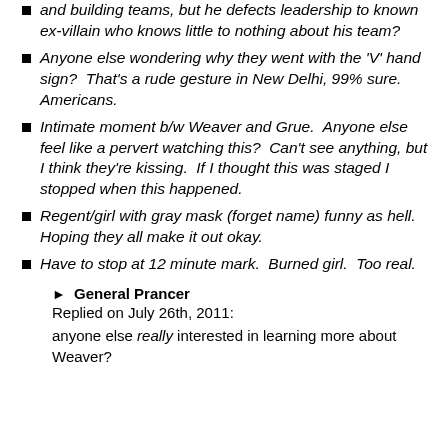and building teams, but he defects leadership to known ex-villain who knows little to nothing about his team?
Anyone else wondering why they went with the 'V' hand sign?  That's a rude gesture in New Delhi, 99% sure.  Americans.
Intimate moment b/w Weaver and Grue.  Anyone else feel like a pervert watching this?  Can't see anything, but I think they're kissing.  If I thought this was staged I stopped when this happened.
Regent/girl with gray mask (forget name) funny as hell.  Hoping they all make it out okay.
Have to stop at 12 minute mark.  Burned girl.  Too real.
► General Prancer
Replied on July 26th, 2011:
anyone else really interested in learning more about Weaver?